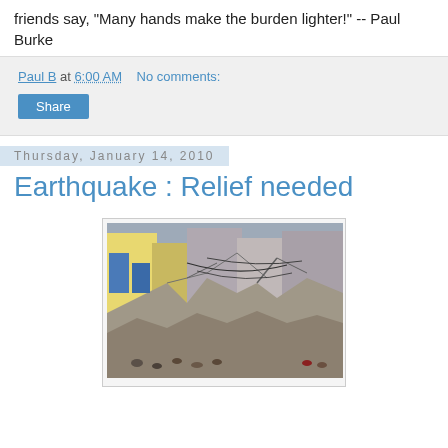friends say, "Many hands make the burden lighter!" -- Paul Burke
Paul B at 6:00 AM   No comments:
Share
Thursday, January 14, 2010
Earthquake : Relief needed
[Figure (photo): Photo of earthquake destruction showing collapsed buildings and rubble in Haiti, with people visible among the debris]